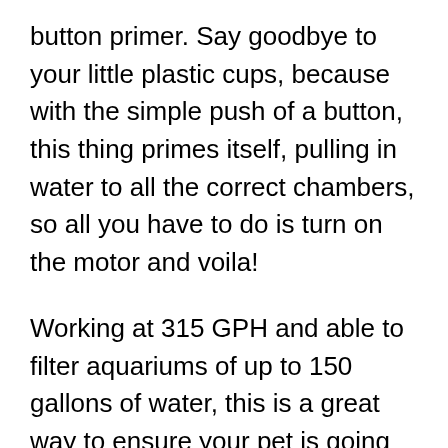button primer. Say goodbye to your little plastic cups, because with the simple push of a button, this thing primes itself, pulling in water to all the correct chambers, so all you have to do is turn on the motor and voila!
Working at 315 GPH and able to filter aquariums of up to 150 gallons of water, this is a great way to ensure your pet is going to be taking it easy in style and live a very happy, healthy life.
Pros